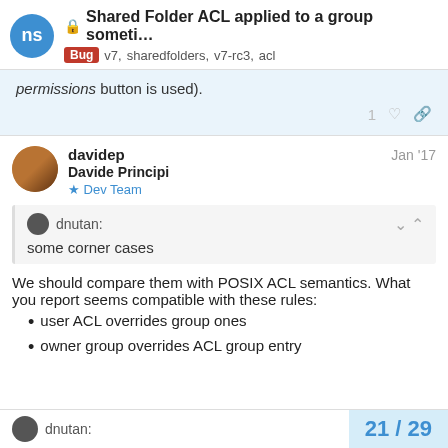Shared Folder ACL applied to a group someti... Bug v7, sharedfolders, v7-rc3, acl
permissions button is used).
1 ♡ 🔗
davidep  Jan '17
Davide Principi
Dev Team
dnutan:
some corner cases
We should compare them with POSIX ACL semantics. What you report seems compatible with these rules:
user ACL overrides group ones
owner group overrides ACL group entry
dnutan:
21 / 29